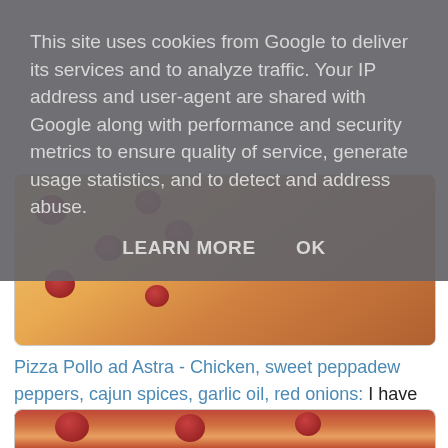This site uses cookies from Google to deliver its services and to analyze traffic. Your IP address and user-agent are shared with Google along with performance and security metrics to ensure quality of service, generate usage statistics, and to detect and address abuse.
LEARN MORE   OK
[Figure (photo): Two pizza photos side by side: left shows a thin-crust pepperoni pizza from the side/angle view; right shows a close-up top-down view of a pepperoni pizza with melted cheese.]
Pizza Pollo ad Astra - Chicken, sweet peppadew peppers, cajun spices, garlic oil, red onions: I have this every time I go to Pizza Express. Plenty of toppings and a nice bit of fire in the peppers. My only criticism (and tis is true of all pizza establishments) is the lack of a decent knife. They are too big to pick up as slices, and the blunt knives are more likely to injure me than cut pizza.
[Figure (photo): Bottom partial pizza photo showing red toppings on pizza, partially cropped.]